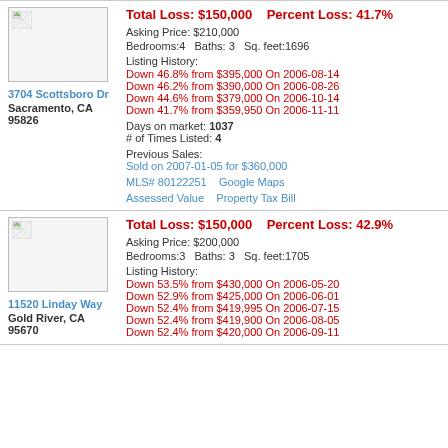Total Loss: $150,000    Percent Loss: 41.7%
Asking Price: $210,000
Bedrooms:4    Baths: 3    Sq. feet:1696
Listing History:
Down 46.8% from $395,000 On 2006-08-14
Down 46.2% from $390,000 On 2006-08-26
Down 44.6% from $379,000 On 2006-10-14
Down 41.7% from $359,950 On 2006-11-11
Days on market: 1037
# of Times Listed: 4
Previous Sales:
Sold on 2007-01-05 for $360,000
MLS# 80122251    Google Maps
Assessed Value    Property Tax Bill
3704 Scottsboro Dr
Sacramento, CA 95826
Total Loss: $150,000    Percent Loss: 42.9%
Asking Price: $200,000
Bedrooms:3    Baths: 3    Sq. feet:1705
Listing History:
Down 53.5% from $430,000 On 2006-05-20
Down 52.9% from $425,000 On 2006-06-01
Down 52.4% from $419,995 On 2006-07-15
Down 52.4% from $419,900 On 2006-08-05
11520 Linday Way
Gold River, CA 95670